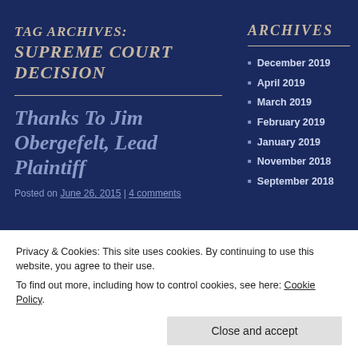TAG ARCHIVES:
SUPREME COURT DECISION
Thanks To Jim Obergefelt, Lead Plaintiff
Posted on June 26, 2015 | 4 comments
ARCHIVES
December 2019
April 2019
March 2019
February 2019
January 2019
November 2018
September 2018
Privacy & Cookies: This site uses cookies. By continuing to use this website, you agree to their use.
To find out more, including how to control cookies, see here: Cookie Policy
Close and accept
Legaliz all
2017